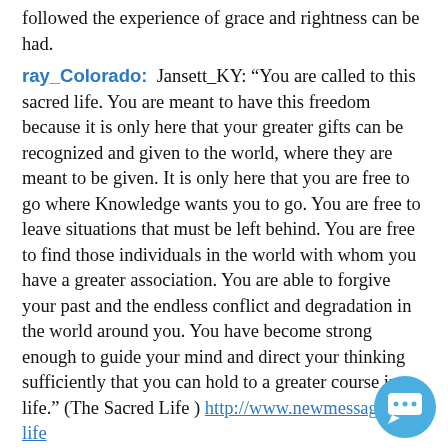followed the experience of grace and rightness can be had.
ray_Colorado:  Jansett_KY: “You are called to this sacred life. You are meant to have this freedom because it is only here that your greater gifts can be recognized and given to the world, where they are meant to be given. It is only here that you are free to go where Knowledge wants you to go. You are free to leave situations that must be left behind. You are free to find those individuals in the world with whom you have a greater association. You are able to forgive your past and the endless conflict and degradation in the world around you. You have become strong enough to guide your mind and direct your thinking sufficiently that you can hold to a greater course in life.” (The Sacred Life ) http://www.newmessage....-life
Carol_Society:  @Mary, Ayesha: Yes, “the curre… state of mind.” This teaching has made me ask this
[Figure (illustration): Blue circular chat/message icon button in bottom-right corner]